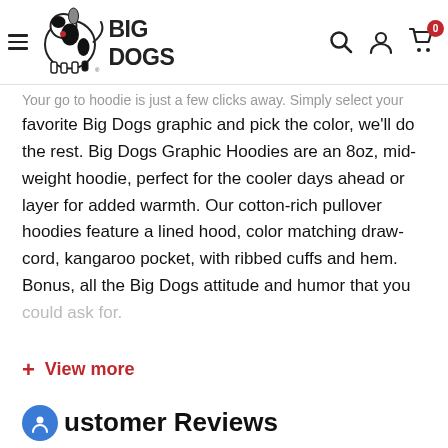Big Dogs navigation header with logo, hamburger menu, search, account, and cart icons
Your go to hoodie is just a few clicks away. Simply select your favorite Big Dogs graphic and pick the color, we'll do the rest. Big Dogs Graphic Hoodies are an 8oz, mid-weight hoodie, perfect for the cooler days ahead or layer for added warmth. Our cotton-rich pullover hoodies feature a lined hood, color matching draw-cord, kangaroo pocket, with ribbed cuffs and hem. Bonus, all the Big Dogs attitude and humor that you could ask for.
+ View more
Customer Reviews